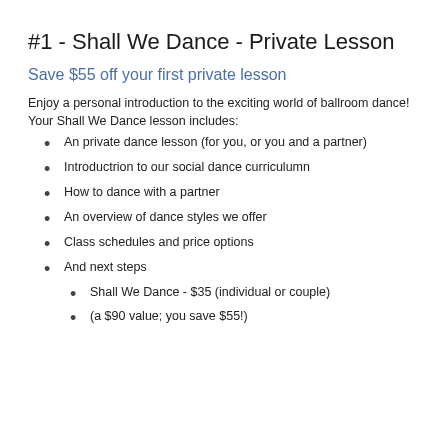#1 - Shall We Dance - Private Lesson
Save $55 off your first private lesson
Enjoy a personal introduction to the exciting world of ballroom dance! Your Shall We Dance lesson includes:
An private dance lesson (for you, or you and a partner)
Introductrion to our social dance curriculumn
How to dance with a partner
An overview of dance styles we offer
Class schedules and price options
And next steps
Shall We Dance - $35 (individual or couple)
(a $90 value; you save $55!)